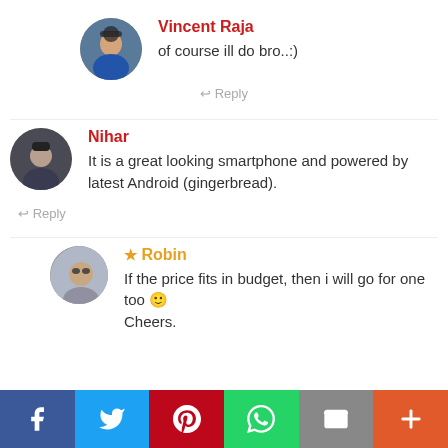Vincent Raja
of course ill do bro..:)
Reply
Nihar
It is a great looking smartphone and powered by latest Android (gingerbread).
Reply
Robin
If the price fits in budget, then i will go for one too 🙂 Cheers.
[Figure (infographic): Social sharing bar with Facebook, Twitter, Pinterest, WhatsApp, Email, and More buttons]